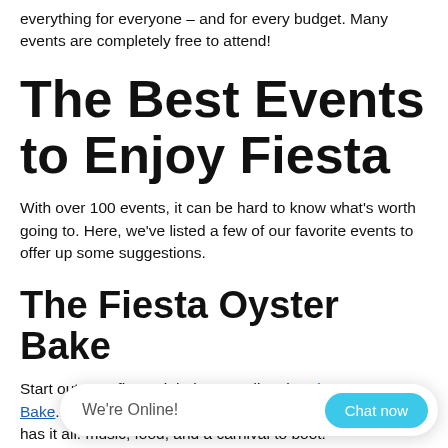everything for everyone – and for every budget. Many events are completely free to attend!
The Best Events to Enjoy Fiesta
With over 100 events, it can be hard to know what's worth going to. Here, we've listed a few of our favorite events to offer up some suggestions.
The Fiesta Oyster Bake
Start out your fiesta right by attending the Fiesta Oyster Bake. Typically the opening weekend of Fiesta, this event has it all: music, food, and a carnival to boot!